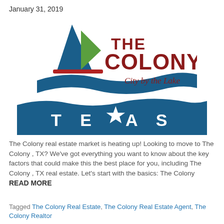January 31, 2019
[Figure (logo): The Colony, City by the Lake logo with sailboat graphic and TEXAS banner]
The Colony real estate market is heating up! Looking to move to The Colony , TX? We've got everything you want to know about the key factors that could make this the best place for you, including The Colony , TX real estate. Let's start with the basics: The Colony READ MORE
Tagged The Colony Real Estate, The Colony Real Estate Agent, The Colony Realtor